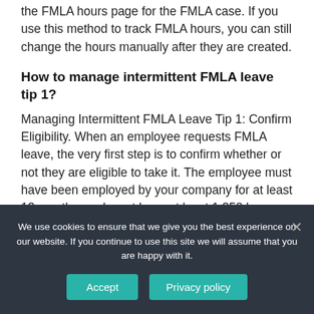the FMLA hours page for the FMLA case. If you use this method to track FMLA hours, you can still change the hours manually after they are created.
How to manage intermittent FMLA leave tip 1?
Managing Intermittent FMLA Leave Tip 1: Confirm Eligibility. When an employee requests FMLA leave, the very first step is to confirm whether or not they are eligible to take it. The employee must have been employed by your company for at least 12 months, and must have at least 1,250 hours worked in the preceding 12 months.
We use cookies to ensure that we give you the best experience on our website. If you continue to use this site we will assume that you are happy with it.